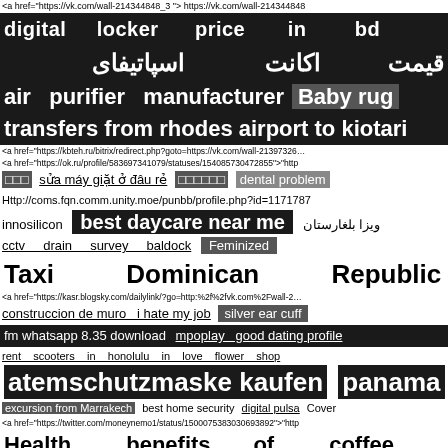<a href="https://vk.com/wall-214344848_3">https://vk.com/wall-214344848
digital locker price in bd
قیمت اکانت اسپاتیفای
air purifier manufacturer   Baby rug
transfers from rhodes airport to kiotari
<a href="https://kbteh.ru/bitrix/redirect.php?goto=https://vk.com/wall-213973260
<a href="https://ok.ru/profile/583697341079/statuses/154085730472855">"http
□□□  sửa máy giặt ở đâu rẻ  □□□□□□  dental problem
Http://coms.fqn.comm.unity.moe/punbb/profile.php?id=1171787
innosilicon  best daycare near me  ویزا بلغارستان
cctv drain survey baldock   Feminized
Taxi Dominican Republic
<a href="https://kasr.blogsky.com/dailylink/?go=http:%2f%2fvk.com%2Fwall-2
construccion de muro  i hate my job  silver ear cuff
fm whatsapp 8.35 download  mpoplay  good dating profile
rent scooters in honolulu  in love flower shop
atemschutzmaske kaufen  panama
excursion from Marrakech  best home security  digital pulsa  Cover
<a href="https://twitter.com/moneynemo1/status/1500075383030693892">"http
Health benefits of coffee
<a href="https://ok.ru/profile/564608089336/statuses/154383378171384">"http
criminal lawver toronto   tekktekklehrbach.de